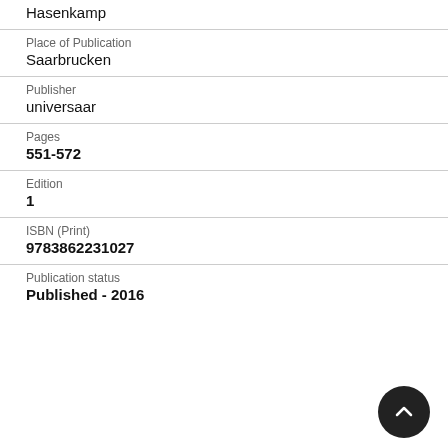Hasenkamp
Place of Publication
Saarbrucken
Publisher
universaar
Pages
551-572
Edition
1
ISBN (Print)
9783862231027
Publication status
Published - 2016